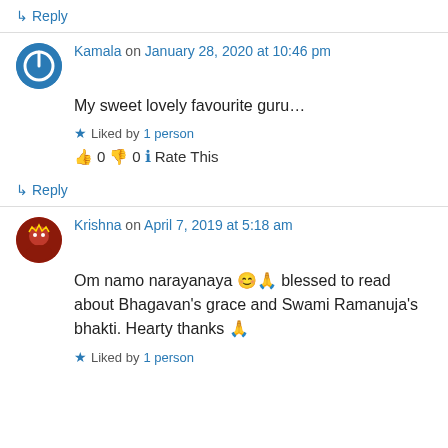↳ Reply
Kamala on January 28, 2020 at 10:46 pm
My sweet lovely favourite guru…
★ Liked by 1 person
👍 0 👎 0 ℹ Rate This
↳ Reply
Krishna on April 7, 2019 at 5:18 am
Om namo narayanaya 😊🙏 blessed to read about Bhagavan's grace and Swami Ramanuja's bhakti. Hearty thanks 🙏
★ Liked by 1 person